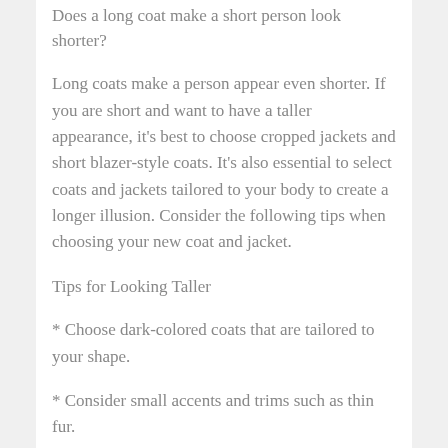Does a long coat make a short person look shorter?
Long coats make a person appear even shorter. If you are short and want to have a taller appearance, it's best to choose cropped jackets and short blazer-style coats. It's also essential to select coats and jackets tailored to your body to create a longer illusion. Consider the following tips when choosing your new coat and jacket.
Tips for Looking Taller
* Choose dark-colored coats that are tailored to your shape.
* Consider small accents and trims such as thin fur.
* Choose vibrant colored coats to show off your personality and make sure they fit your body well.